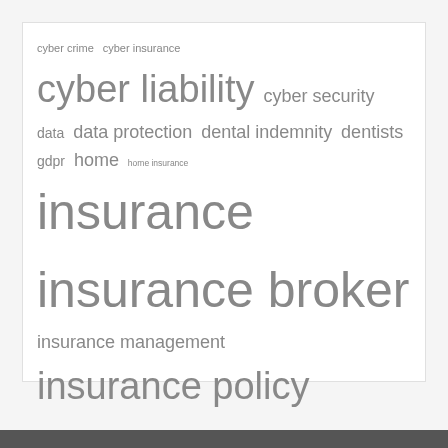[Figure (infographic): A tag cloud / word cloud containing insurance-related terms in varying font sizes, indicating relative frequency or importance. Terms include: cyber crime, cyber insurance, cyber liability, cyber security, data, data protection, dental indemnity, dentists, gdpr, home, home insurance, insurance, insurance broker, insurance management, insurance policy, liability, locum insurance, low cost insurance, medical indemnity, NHS, policy, practice insurance, practice management, premiums, prevention, protection, ransomware, reducing premiums, renewals, risk, save money, security, switching, underinsurance, valuables, value.]